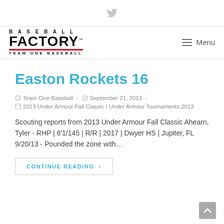[Twitter icon]
[Figure (logo): Baseball Factory Team One Baseball logo with red underline]
Menu
Easton Rockets 16
Team One Baseball - September 21, 2013 -
2013 Under Armour Fall Classic / Under Armour Tournaments 2013
Scouting reports from 2013 Under Armour Fall Classic Ahearn, Tyler - RHP | 6'1/145 | R/R | 2017 | Dwyer HS | Jupiter, FL 9/20/13 - Pounded the zone with…
CONTINUE READING >